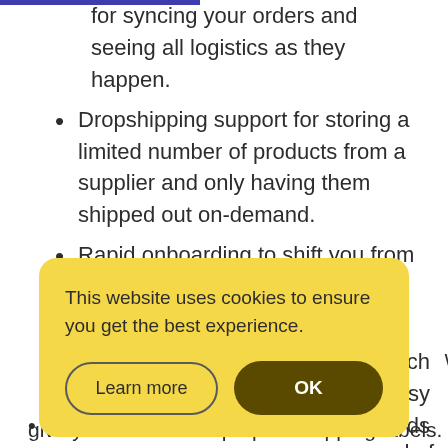for syncing your orders and seeing all logistics as they happen.
Dropshipping support for storing a limited number of products from a supplier and only having them shipped out on-demand.
Rapid onboarding to shift you from another fulfillment company and into the Red Stag ecosystem.
[partially obscured] which [partially obscured] sy
[partially obscured] ds [partially obscured] ad of [partially obscured] give your customers prepaid shipping labels.
This website uses cookies to ensure you get the best experience.